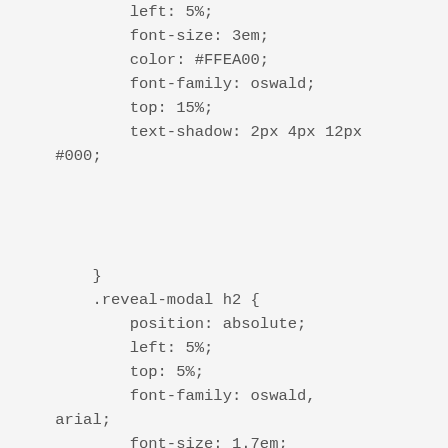left: 5%;
            font-size: 3em;
            color: #FFEA00;
            font-family: oswald;
            top: 15%;
            text-shadow: 2px 4px 12px
    #000;




        }
        .reveal-modal h2 {
            position: absolute;
            left: 5%;
            top: 5%;
            font-family: oswald,
    arial;
            font-size: 1.7em;
            text-shadow: 2px 4px 10px